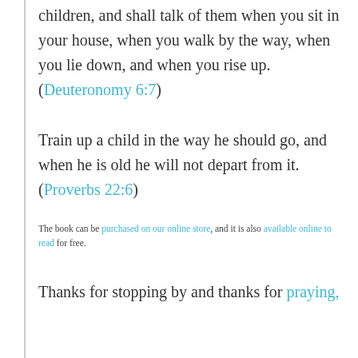children, and shall talk of them when you sit in your house, when you walk by the way, when you lie down, and when you rise up. (Deuteronomy 6:7)
Train up a child in the way he should go, and when he is old he will not depart from it. (Proverbs 22:6)
The book can be purchased on our online store, and it is also available online to read for free.
Thanks for stopping by and thanks for praying,